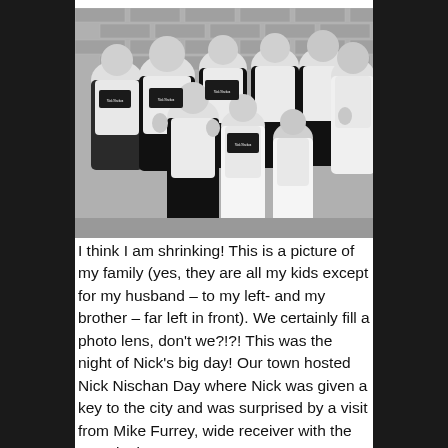[Figure (photo): Black and white group photo of a family wearing matching white t-shirts that say 'Nick Nischan Day April 4th, 2008', standing in front of a brick wall. Eight people total including adults and children, some giving thumbs up.]
I think I am shrinking! This is a picture of my family (yes, they are all my kids except for my husband – to my left- and my brother – far left in front). We certainly fill a photo lens, don't we?!?! This was the night of Nick's big day! Our town hosted Nick Nischan Day where Nick was given a key to the city and was surprised by a visit from Mike Furrey, wide receiver with the Detroit Lions!